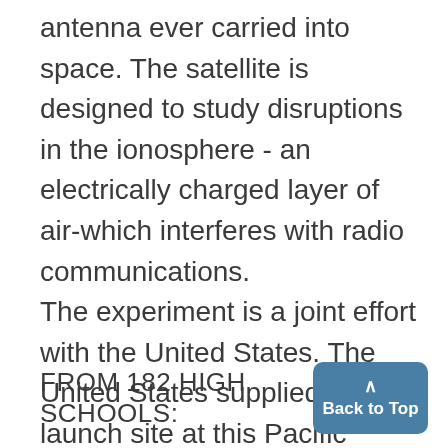antenna ever carried into space. The satellite is designed to study disruptions in the ionosphere - an electrically charged layer of air-which interferes with radio communications.
The experiment is a joint effort with the United States. The United States supplied the launch site at this Pacific missile range base and the launch vehicles.
FROM 182 HIGH SCHOOLS: